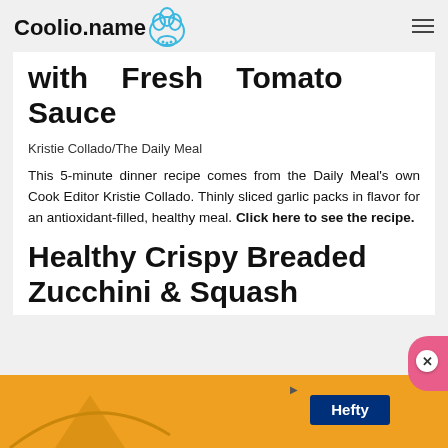Coolio.name
with Fresh Tomato Sauce
Kristie Collado/The Daily Meal
This 5-minute dinner recipe comes from the Daily Meal's own Cook Editor Kristie Collado. Thinly sliced garlic packs in flavor for an antioxidant-filled, healthy meal. Click here to see the recipe.
Healthy Crispy Breaded Zucchini & Squash